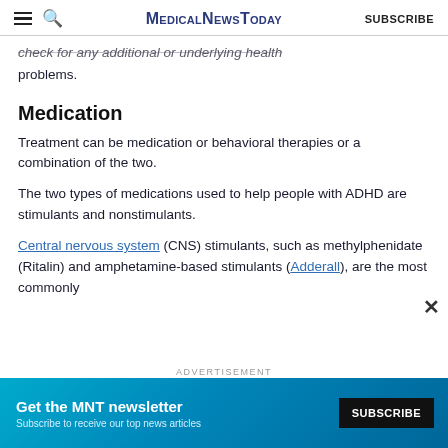MedicalNewsToday  SUBSCRIBE
check for any additional or underlying health problems.
Medication
Treatment can be medication or behavioral therapies or a combination of the two.
The two types of medications used to help people with ADHD are stimulants and nonstimulants.
Central nervous system (CNS) stimulants, such as methylphenidate (Ritalin) and amphetamine-based stimulants (Adderall), are the most commonly
[Figure (other): Advertisement banner for MNT newsletter with subscribe button]